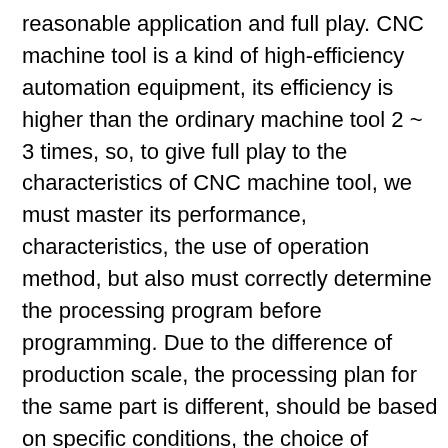reasonable application and full play. CNC machine tool is a kind of high-efficiency automation equipment, its efficiency is higher than the ordinary machine tool 2 ~ 3 times, so, to give full play to the characteristics of CNC machine tool, we must master its performance, characteristics, the use of operation method, but also must correctly determine the processing program before programming. Due to the difference of production scale, the processing plan for the same part is different, should be based on specific conditions, the choice of economic, reasonable process plan. One, the processing process is divided in the CNC machine tool processing parts, the process can be more centralized, a clamping should be as far as possible to complete the whole process. Compared with ordinary machine tool processing, processing process division has its own characteristics, commonly used process division principles have two